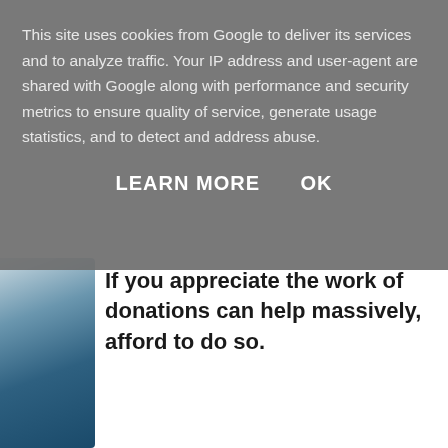This site uses cookies from Google to deliver its services and to analyze traffic. Your IP address and user-agent are shared with Google along with performance and security metrics to ensure quality of service, generate usage statistics, and to detect and address abuse.
LEARN MORE    OK
If you appreciate the work of donations can help massively, afford to do so.